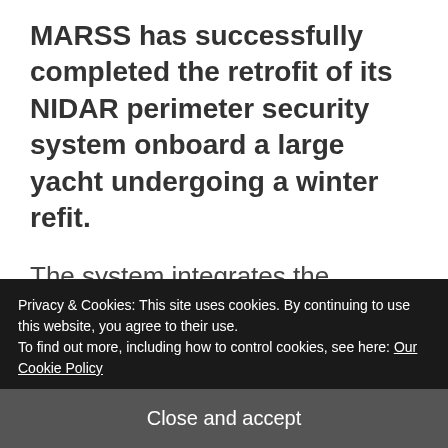MARSS has successfully completed the retrofit of its NIDAR perimeter security system onboard a large yacht undergoing a winter refit.
The system integrates the vessels radars and upgraded cameras using smart software to provide long range awareness of objects operating in the vicinity of the vessel.
Privacy & Cookies: This site uses cookies. By continuing to use this website, you agree to their use.
To find out more, including how to control cookies, see here: Our Cookie Policy
Close and accept